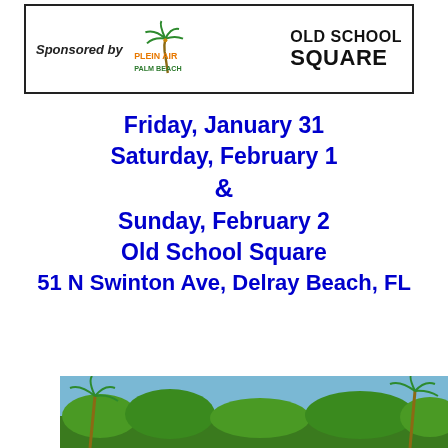[Figure (logo): Sponsor banner with 'Sponsored by', Plein Air Palm Beach logo (palm tree with orange/green text), and Old School Square logo]
Friday,  January 31
Saturday, February  1
&
Sunday, February 2
Old School Square
51 N Swinton Ave, Delray Beach, FL
[Figure (photo): Outdoor photo showing palm trees and tropical greenery against a blue sky]